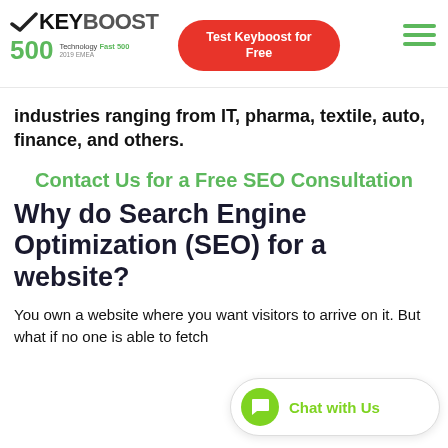[Figure (logo): Keyboost logo with checkmark, KEY in black bold, BOOST in dark gray bold, and 500 Technology Fast 500 2019 EMEA badge in green below]
[Figure (other): Red rounded rectangle button with white text: Test Keyboost for Free]
[Figure (other): Green hamburger menu icon (three horizontal lines)]
industries ranging from IT, pharma, textile, auto, finance, and others.
Contact Us for a Free SEO Consultation
Why do Search Engine Optimization (SEO) for a website?
You own a website where you want visitors to arrive on it. But what if no one is able to fetch
[Figure (other): White rounded pill Chat with Us button with green speech bubble icon and green text]